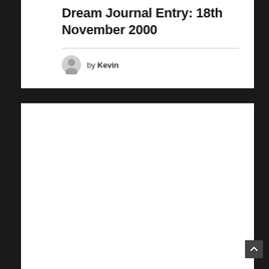Dream Journal Entry: 18th November 2000
by Kevin
[Figure (other): White content area below the author block — empty white panel]